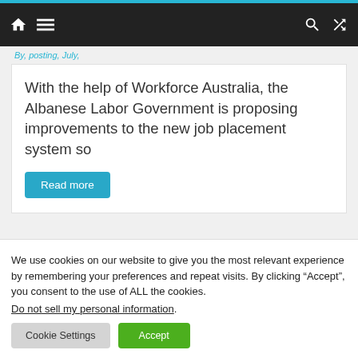Navigation bar with home icon, menu icon, search icon, and shuffle icon
With the help of Workforce Australia, the Albanese Labor Government is proposing improvements to the new job placement system so
Read more
We use cookies on our website to give you the most relevant experience by remembering your preferences and repeat visits. By clicking “Accept”, you consent to the use of ALL the cookies. Do not sell my personal information.
Cookie Settings
Accept